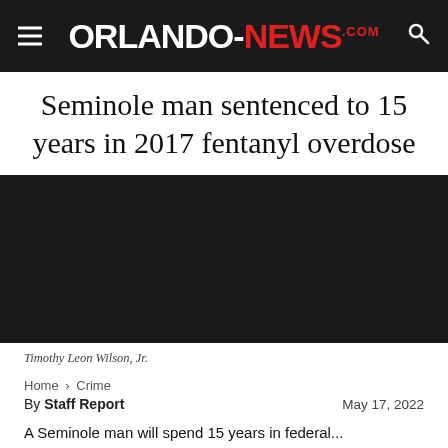ORLANDO-NEWS.COM
Seminole man sentenced to 15 years in 2017 fentanyl overdose
[Figure (photo): Booking photo of Timothy Leon Wilson, Jr. — dark background portrait.]
Timothy Leon Wilson, Jr.
Home › Crime
By Staff Report    May 17, 2022
A Seminole man will spend 15 years in federal...